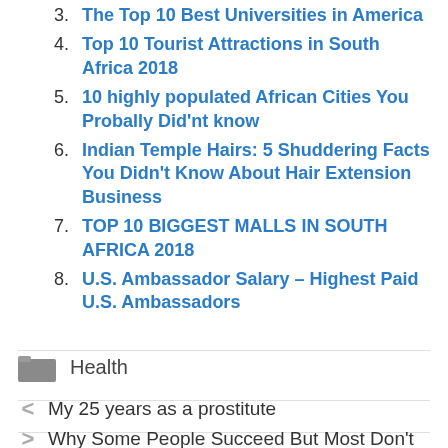3. The Top 10 Best Universities in America
4. Top 10 Tourist Attractions in South Africa 2018
5. 10 highly populated African Cities You Probally Did'nt know
6. Indian Temple Hairs: 5 Shuddering Facts You Didn't Know About Hair Extension Business
7. TOP 10 BIGGEST MALLS IN SOUTH AFRICA 2018
8. U.S. Ambassador Salary – Highest Paid U.S. Ambassadors
Health
< My 25 years as a prostitute
> Why Some People Succeed But Most Don't